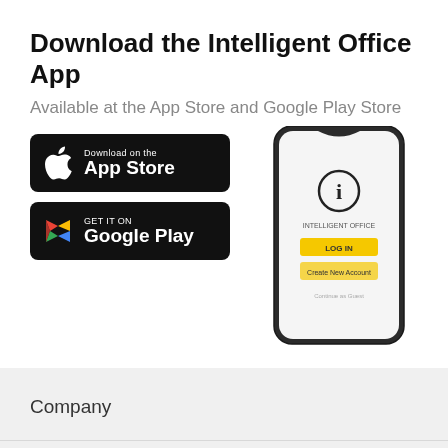Download the Intelligent Office App
Available at the App Store and Google Play Store
[Figure (screenshot): App Store download button (black rounded rectangle with Apple logo)]
[Figure (screenshot): Google Play download button (black rounded rectangle with Play triangle logo)]
[Figure (screenshot): Smartphone showing Intelligent Office app login screen with yellow Login button and Create New Account button]
Company
Services
Industries